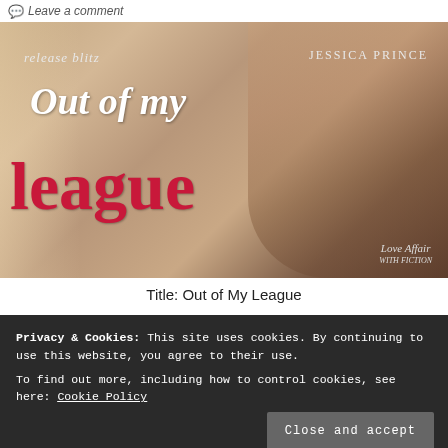Leave a comment
[Figure (illustration): Book cover for 'Out of My League' by Jessica Prince — release blitz promotional image showing a couple embracing, with large red and white script title text and a Love Affair With Fiction logo]
Title: Out of My League
Privacy & Cookies: This site uses cookies. By continuing to use this website, you agree to their use.
To find out more, including how to control cookies, see here: Cookie Policy
Close and accept